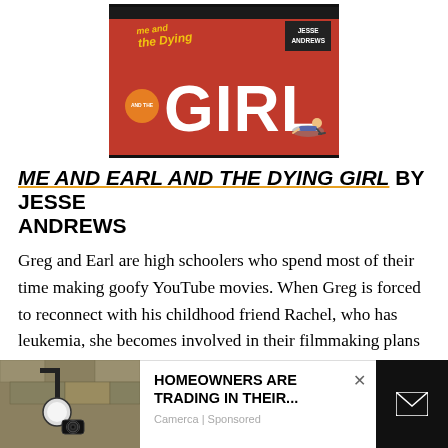[Figure (illustration): Book cover for 'Me and Earl and the Dying Girl' by Jesse Andrews. Red background with large white 'GIRL' text, stylized italic 'me and the Dying' text in yellow, an orange circle, author name Jesse Andrews in a dark box, and a small character figure.]
ME AND EARL AND THE DYING GIRL BY JESSE ANDREWS
Greg and Earl are high schoolers who spend most of their time making goofy YouTube movies. When Greg is forced to reconnect with his childhood friend Rachel, who has leukemia, she becomes involved in their filmmaking plans as the trio set out to make the Worst Film Ever Made.
[Figure (photo): Advertisement showing a light fixture/lamp on a stone wall with a security camera. Ad text reads 'HOMEOWNERS ARE TRADING IN THEIR...' from Camerca, Sponsored.]
HOMEOWNERS ARE TRADING IN THEIR... Camerca | Sponsored